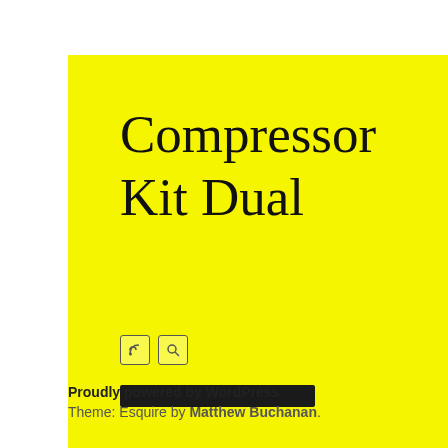Compressor Kit Dual
[Figure (screenshot): Yellow speech bubble containing the title 'Compressor Kit Dual' with RSS and search icons and a black horizontal bar]
Proudly powered by WordPress
Theme: Esquire by Matthew Buchanan.
August
July 2
June 2
May 2
April
March
Febru
Januar
Decem
Novem
Octob
Septem
Augus
July 2
June 2
May 2
April